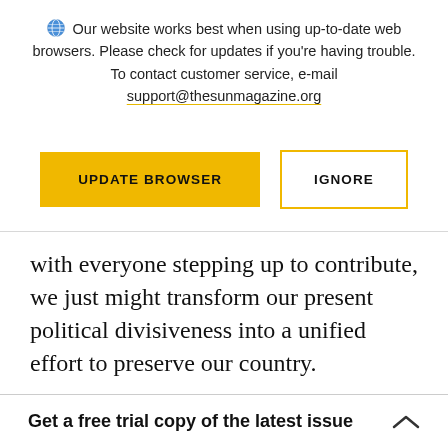Our website works best when using up-to-date web browsers. Please check for updates if you're having trouble. To contact customer service, e-mail support@thesunmagazine.org
[Figure (other): Two buttons: 'UPDATE BROWSER' (yellow filled) and 'IGNORE' (yellow outlined)]
with everyone stepping up to contribute, we just might transform our present political divisiveness into a unified effort to preserve our country.
Get a free trial copy of the latest issue